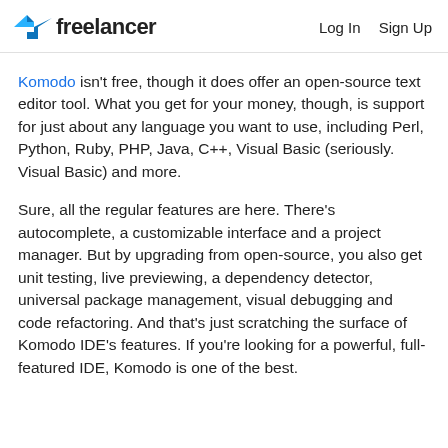Freelancer | Log In  Sign Up
Komodo isn't free, though it does offer an open-source text editor tool. What you get for your money, though, is support for just about any language you want to use, including Perl, Python, Ruby, PHP, Java, C++, Visual Basic (seriously. Visual Basic) and more.
Sure, all the regular features are here. There's autocomplete, a customizable interface and a project manager. But by upgrading from open-source, you also get unit testing, live previewing, a dependency detector, universal package management, visual debugging and code refactoring. And that's just scratching the surface of Komodo IDE's features. If you're looking for a powerful, full-featured IDE, Komodo is one of the best.